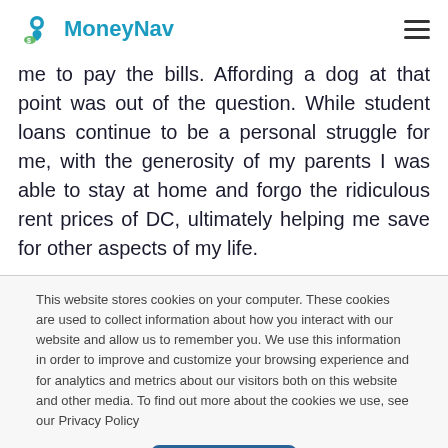MoneyNav
me to pay the bills. Affording a dog at that point was out of the question. While student loans continue to be a personal struggle for me, with the generosity of my parents I was able to stay at home and forgo the ridiculous rent prices of DC, ultimately helping me save for other aspects of my life.
This website stores cookies on your computer. These cookies are used to collect information about how you interact with our website and allow us to remember you. We use this information in order to improve and customize your browsing experience and for analytics and metrics about our visitors both on this website and other media. To find out more about the cookies we use, see our Privacy Policy
Accept